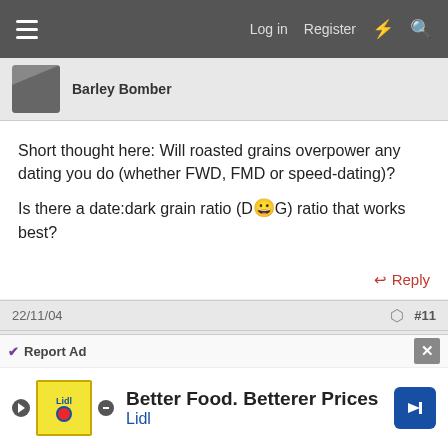≡  Log in  Register
Barley Bomber
Short thought here: Will roasted grains overpower any dating you do (whether FWD, FMD or speed-dating)?
Is there a date:dark grain ratio (D😀G) ratio that works best?
↩ Reply
22/11/04  #11
Jovial_Monk
Guest
Hmmm I doubt any historical Egyptian beer would be
Report Ad
Better Food. Betterer Prices
Lidl